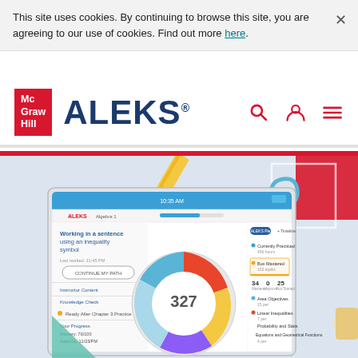This site uses cookies. By continuing to browse this site, you are agreeing to our use of cookies. Find out more here.
[Figure (screenshot): McGraw Hill ALEKS website header with navigation bar showing McGraw Hill logo, ALEKS logo, search icon, user icon, and menu icon]
[Figure (screenshot): ALEKS platform dashboard screenshot showing a pie chart with the number 327 in the center, displayed on a tablet device with various menu items and student progress information]